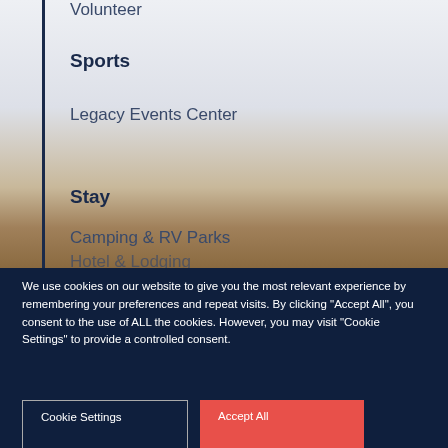Volunteer
Sports
Legacy Events Center
Stay
Camping & RV Parks
Hotel & Lodging
We use cookies on our website to give you the most relevant experience by remembering your preferences and repeat visits. By clicking "Accept All", you consent to the use of ALL the cookies. However, you may visit "Cookie Settings" to provide a controlled consent.
Cookie Settings
Accept All